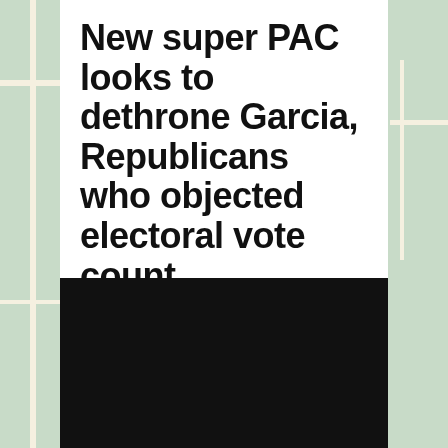New super PAC looks to dethrone Garcia, Republicans who objected electoral vote count
MARCH 30, 2021 BY MICHAELLA HUCK
LEAVE A COMMENT
[Figure (other): Black video embed placeholder rectangle]